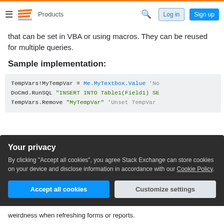[Figure (screenshot): Stack Overflow navigation bar with hamburger menu, logo, Products link, search icon, Log in button, and Sign up button]
that can be set in VBA or using macros. They can be reused for multiple queries.
Sample implementation:
[Figure (screenshot): Code block showing: TempVars!MyTempVar = Me.MyTextbox.Value 'No... / DoCmd.RunSQL "INSERT INTO Table1(Field1) SE... / TempVars.Remove "MyTempVar" 'Unset TempVar...]
Availability for TempVars is identical to that of values from forms and reports: not available for ADO and DAO, available for other uses.
Your privacy
By clicking "Accept all cookies", you agree Stack Exchange can store cookies on your device and disclose information in accordance with our Cookie Policy.
weirdness when refreshing forms or reports.